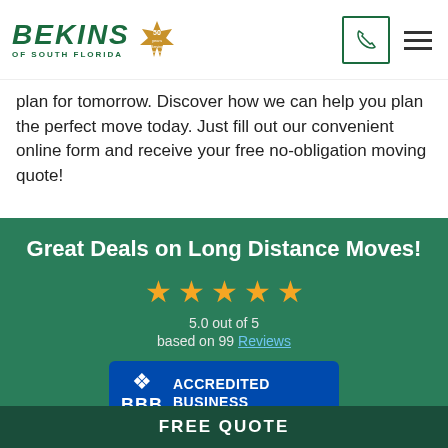Bekins of South Florida — 50 Years — phone and menu
plan for tomorrow. Discover how we can help you plan the perfect move today. Just fill out our convenient online form and receive your free no-obligation moving quote!
Great Deals on Long Distance Moves!
[Figure (infographic): Five gold stars rating display showing 5.0 out of 5 based on 99 Reviews, BBB Accredited Business badge, and dbr badge]
FREE QUOTE